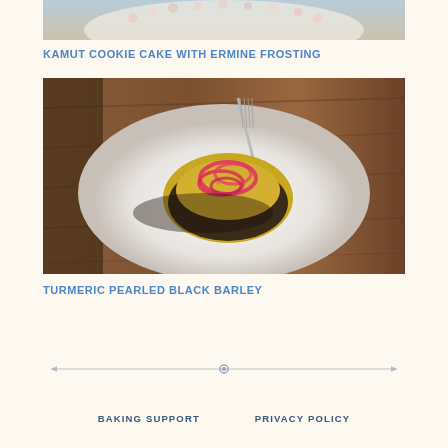[Figure (photo): Top portion of a decorated cookie cake with floral frosting on a plate, light blue background]
KAMUT COOKIE CAKE WITH ERMINE FROSTING
[Figure (photo): Overhead view of turmeric pearled black barley dish on a white plate with pickled red onions and a fork, on a wooden surface]
TURMERIC PEARLED BLACK BARLEY
BAKING SUPPORT   PRIVACY POLICY